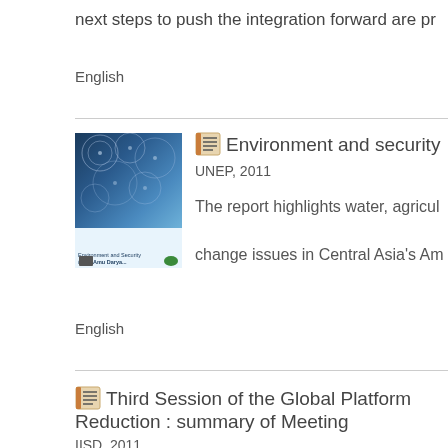next steps to push the integration forward are pr
English
[Figure (illustration): Book cover for Environment and Security in the Amu Darya, with decorative Islamic tile pattern in blues and a white crescent shape at bottom, with small logos]
Environment and security
UNEP, 2011
The report highlights water, agricul... change issues in Central Asia's Am...
English
Third Session of the Global Platform... Reduction : summary of Meeting
IISD, 2011